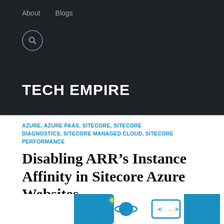About   Blogs
TECH EMPIRE
AZURE, AZURE PAAS, SITECORE, SITECORE DIAGNOSTICS, SITECORE MANAGED CLOUD, SITECORE PERFORMANCE
Disabling ARR's Instance Affinity in Sitecore Azure Websites
[Figure (illustration): Decorative illustration showing a planet with rings and a code bracket icon with ellipsis, on a blue background with document/page shapes on the sides]